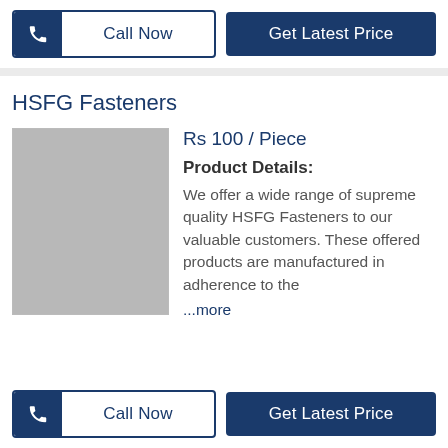[Figure (other): Call Now button with phone icon and Get Latest Price button, dark navy blue]
HSFG Fasteners
[Figure (photo): Gray placeholder product image]
Rs 100 / Piece
Product Details:
We offer a wide range of supreme quality HSFG Fasteners to our valuable customers. These offered products are manufactured in adherence to the
...more
[Figure (other): Call Now button with phone icon and Get Latest Price button, dark navy blue (bottom)]